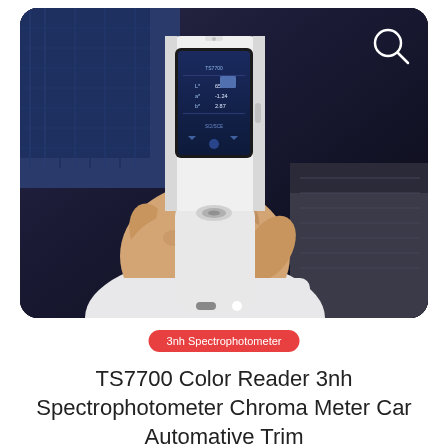[Figure (photo): A hand holding a white TS7700 spectrophotometer/color reader device with a touchscreen display showing color measurement data. The person is holding the device against a dark automotive interior surface. A search (magnifying glass) icon appears in the upper right corner of the image. Two carousel navigation dots appear at the bottom of the image.]
3nh Spectrophotometer
TS7700 Color Reader 3nh Spectrophotometer Chroma Meter Car Automative Trim